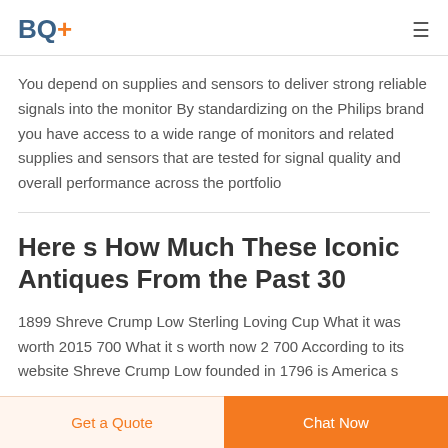BQ+
You depend on supplies and sensors to deliver strong reliable signals into the monitor By standardizing on the Philips brand you have access to a wide range of monitors and related supplies and sensors that are tested for signal quality and overall performance across the portfolio
Here s How Much These Iconic Antiques From the Past 30
1899 Shreve Crump Low Sterling Loving Cup What it was worth 2015 700 What it s worth now 2 700 According to its website Shreve Crump Low founded in 1796 is America s